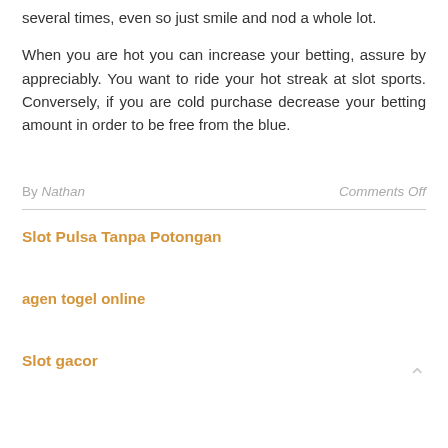several times, even so just smile and nod a whole lot.
When you are hot you can increase your betting, assure by appreciably. You want to ride your hot streak at slot sports. Conversely, if you are cold purchase decrease your betting amount in order to be free from the blue.
By Nathan   Comments Off
Slot Pulsa Tanpa Potongan
agen togel online
Slot gacor